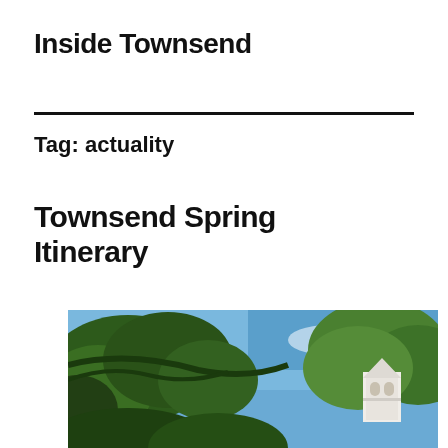Inside Townsend
Tag: actuality
Townsend Spring Itinerary
[Figure (photo): Outdoor photo looking up at green trees against a blue sky, with the top of a white church steeple or bell tower visible on the right side]